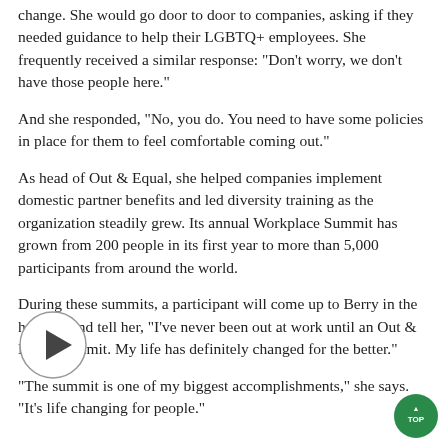change. She would go door to door to companies, asking if they needed guidance to help their LGBTQ+ employees. She frequently received a similar response: "Don't worry, we don't have those people here."
And she responded, "No, you do. You need to have some policies in place for them to feel comfortable coming out."
As head of Out & Equal, she helped companies implement domestic partner benefits and led diversity training as the organization steadily grew. Its annual Workplace Summit has grown from 200 people in its first year to more than 5,000 participants from around the world.
During these summits, a participant will come up to Berry in the hallway and tell her, "I've never been out at work until an Out & Equal Summit. My life has definitely changed for the better."
[Figure (other): Play button icon overlay]
"The summit is one of my biggest accomplishments," she says. "It's life changing for people."
[Figure (other): TOP scroll-to-top button]